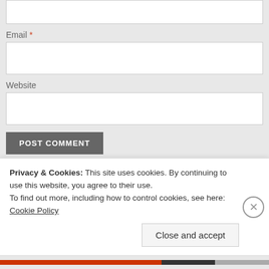Email *
Website
POST COMMENT
Notify me of new comments via email.
Notify me of new posts via email.
This site uses Akismet to reduce spam. Learn how your comment data is processed.
Privacy & Cookies: This site uses cookies. By continuing to use this website, you agree to their use. To find out more, including how to control cookies, see here: Cookie Policy
Close and accept